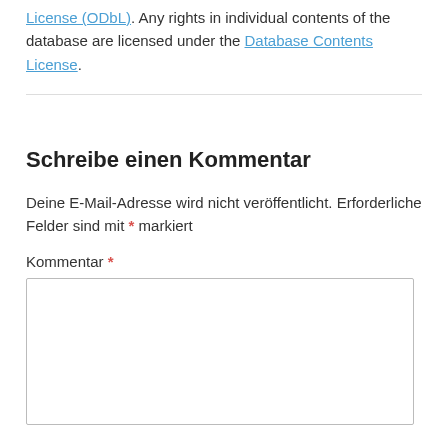License (ODbL). Any rights in individual contents of the database are licensed under the Database Contents License.
Schreibe einen Kommentar
Deine E-Mail-Adresse wird nicht veröffentlicht. Erforderliche Felder sind mit * markiert
Kommentar *
[Figure (other): Empty textarea input box for comment submission]